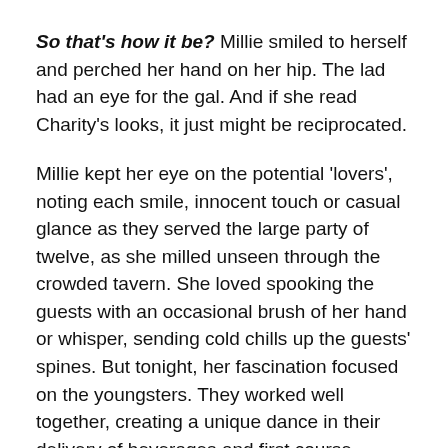So that's how it be? Millie smiled to herself and perched her hand on her hip. The lad had an eye for the gal. And if she read Charity's looks, it just might be reciprocated.
Millie kept her eye on the potential 'lovers', noting each smile, innocent touch or casual glance as they served the large party of twelve, as she milled unseen through the crowded tavern. She loved spooking the guests with an occasional brush of her hand or whisper, sending cold chills up the guests' spines. But tonight, her fascination focused on the youngsters. They worked well together, creating a unique dance in their delivery of beverages and first course platters. Charity did most of the talking to their guests and Thomas followed her lead.
Eh? Too young for her. Millie sighed with an indifferent shrug of her shoulders. A man who couldn't converse with her didn't hold her interest, no matter what he looked like. Was she turning soft? Two hundred and twenty years